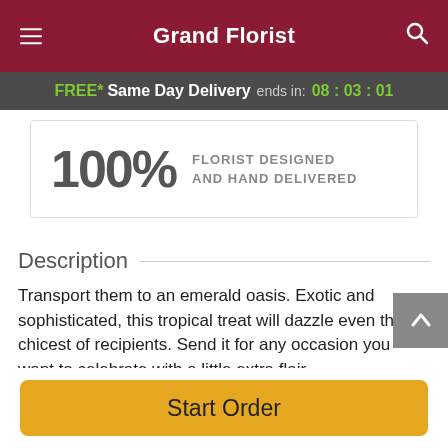Grand Florist
FREE* Same Day Delivery ends in: 08:03:01
100% FLORIST DESIGNED AND HAND DELIVERED
Description
Transport them to an emerald oasis. Exotic and sophisticated, this tropical treat will dazzle even the chicest of recipients. Send it for any occasion you want to celebrate with a little extra flair.
Full stems of green Dendrobium orchids are artfully
Start Order